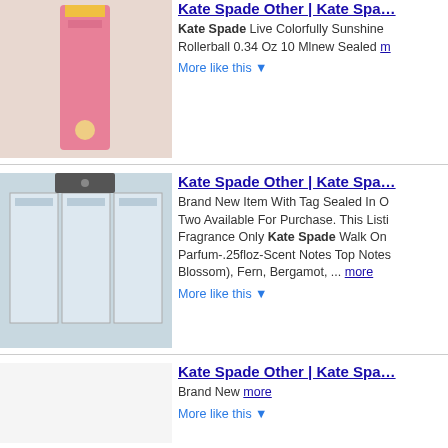Kate Spade Other | Kate Spade Live Colorfully Sunshine Rollerball 0.34 Oz 10 Mlnew Sealed more | More like this ▼
Kate Spade Other | Kate Spade Brand New Item With Tag Sealed In O Two Available For Purchase. This Listing Fragrance Only Kate Spade Walk On Parfum-.25floz-Scent Notes Top Notes Blossom), Fern, Bergamot, ... more | More like this ▼
Kate Spade Other | Kate Spade Brand New more | More like this ▼
Kate Spade Other | Kate Spade New York Walk On Air Pa Ml.Used Twicecomes In Original Box( See More Detail more | More like this ▼
Kate Spade Other | Kate Spade Turquoise And Green Col Eyeglasses more